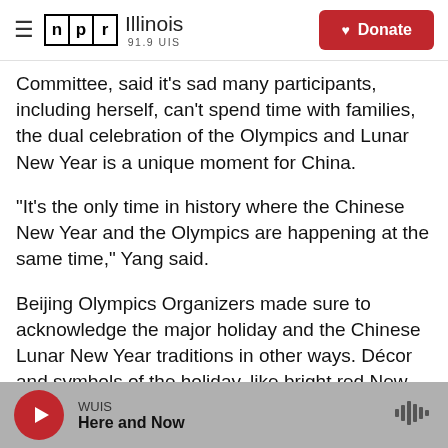NPR Illinois 91.9 UIS | Donate
Committee, said it's sad many participants, including herself, can't spend time with families, the dual celebration of the Olympics and Lunar New Year is a unique moment for China.
"It's the only time in history where the Chinese New Year and the Olympics are happening at the same time," Yang said.
Beijing Olympics Organizers made sure to acknowledge the major holiday and the Chinese Lunar New Year traditions in other ways. Décor and symbols of the holiday, like bright red New Year couplets, onto which good wishes are painted
WUIS | Here and Now